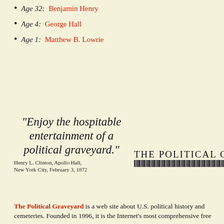Age 32: Benjamin Henry
Age 4: George Hall
Age 1: Matthew B. Lowrie
"Enjoy the hospitable entertainment of a political graveyard." Henry L. Clinton, Apollo Hall, New York City, February 3, 1872
[Figure (illustration): Newspaper masthead reading 'THE POLITICAL GRAVEYARD' with a textured/crosshatched banner beneath the title text]
The Political Graveyard is a web site about U.S. political history and cemeteries. Founded in 1996, it is the Internet's most comprehensive free